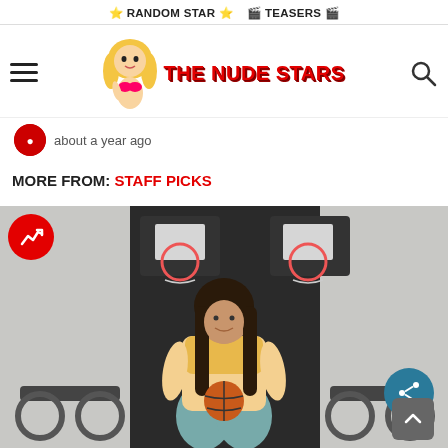⭐ RANDOM STAR ⭐  🎬 TEASERS 🎬
[Figure (logo): The Nude Stars website logo with mascot illustration and red bold text]
about a year ago
MORE FROM: STAFF PICKS
[Figure (photo): Young woman with long dark hair wearing a yellow crop top and ripped jeans, holding a basketball, standing in front of basketball hoops]